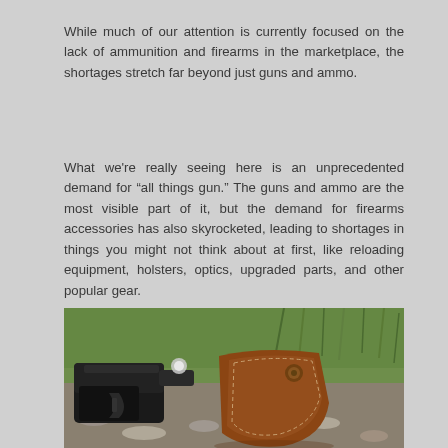While much of our attention is currently focused on the lack of ammunition and firearms in the marketplace, the shortages stretch far beyond just guns and ammo.
What we're really seeing here is an unprecedented demand for "all things gun." The guns and ammo are the most visible part of it, but the demand for firearms accessories has also skyrocketed, leading to shortages in things you might not think about at first, like reloading equipment, holsters, optics, upgraded parts, and other popular gear.
[Figure (photo): A black handgun next to a brown leather holster, lying on rocky ground with green grass in the background.]